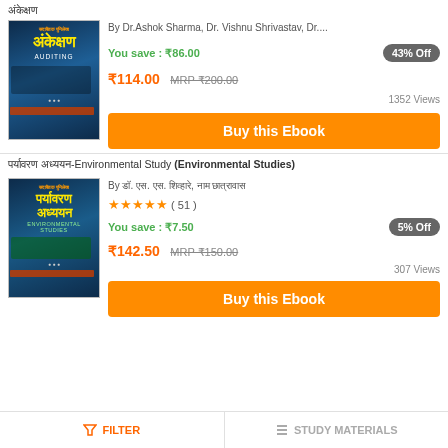अंकेक्षण
[Figure (photo): Book cover of Ankekshan (Auditing) textbook with Hindi title in yellow on blue background]
By Dr.Ashok Sharma, Dr. Vishnu Shrivastav, Dr....
You save : ₹86.00
43% Off
₹114.00  MRP ₹200.00
1352 Views
Buy this Ebook
पर्यावरण अध्ययन-Environmental Study (Environmental Studies)
[Figure (photo): Book cover of Paryavaran Adhyayan (Environmental Studies) textbook with Hindi title in yellow on blue background]
By डॉ. एस. एस. शिव्हारे, नाम छात्रावास
★★★★★ ( 51 )
You save : ₹7.50
5% Off
₹142.50  MRP ₹150.00
307 Views
Buy this Ebook
FILTER
STUDY MATERIALS